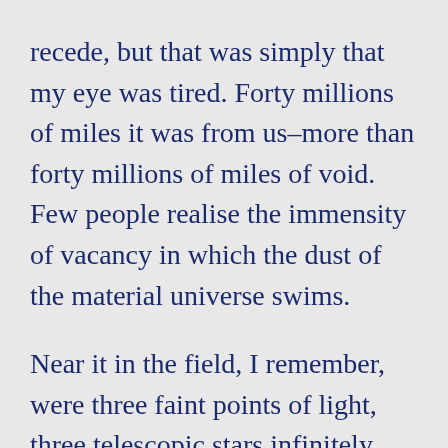recede, but that was simply that my eye was tired. Forty millions of miles it was from us–more than forty millions of miles of void. Few people realise the immensity of vacancy in which the dust of the material universe swims.
Near it in the field, I remember, were three faint points of light, three telescopic stars infinitely remote, and all around it was the unfathomable darkness of empty space. You know how that blackness looks on a frosty starlight night. In a telescope it seems far profounder. And invisible to me because...